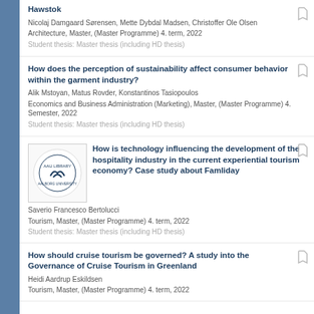Hawstok
Nicolaj Damgaard Sørensen, Mette Dybdal Madsen, Christoffer Ole Olsen
Architecture, Master, (Master Programme) 4. term, 2022
Student thesis: Master thesis (including HD thesis)
How does the perception of sustainability affect consumer behavior within the garment industry?
Alik Mstoyan, Matus Rovder, Konstantinos Tasiopoulos
Economics and Business Administration (Marketing), Master, (Master Programme) 4. Semester, 2022
Student thesis: Master thesis (including HD thesis)
[Figure (logo): Circular logo with stylized letter mark and text around the border]
How is technology influencing the development of the hospitality industry in the current experiential tourism economy? Case study about Famliday
Saverio Francesco Bertolucci
Tourism, Master, (Master Programme) 4. term, 2022
Student thesis: Master thesis (including HD thesis)
How should cruise tourism be governed? A study into the Governance of Cruise Tourism in Greenland
Heidi Aardrup Eskildsen
Tourism, Master, (Master Programme) 4. term, 2022